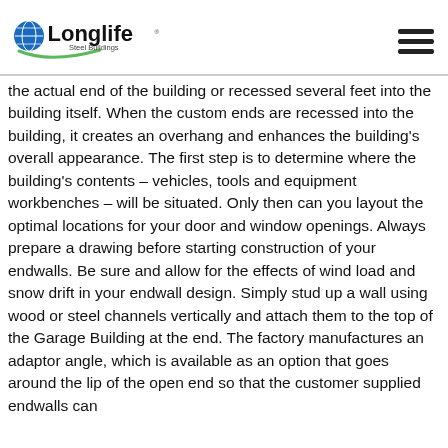Longlife Steel Buildings
the actual end of the building or recessed several feet into the building itself. When the custom ends are recessed into the building, it creates an overhang and enhances the building’s overall appearance. The first step is to determine where the building’s contents – vehicles, tools and equipment workbenches – will be situated. Only then can you layout the optimal locations for your door and window openings. Always prepare a drawing before starting construction of your endwalls. Be sure and allow for the effects of wind load and snow drift in your endwall design. Simply stud up a wall using wood or steel channels vertically and attach them to the top of the Garage Building at the end. The factory manufactures an adaptor angle, which is available as an option that goes around the lip of the open end so that the customer supplied endwalls can